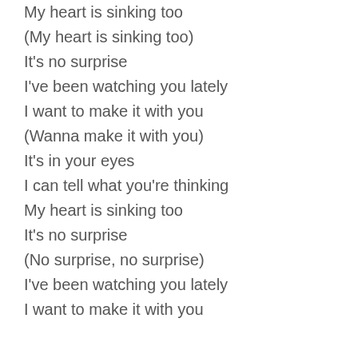My heart is sinking too
(My heart is sinking too)
It's no surprise
I've been watching you lately
I want to make it with you
(Wanna make it with you)
It's in your eyes
I can tell what you're thinking
My heart is sinking too
It's no surprise
(No surprise, no surprise)
I've been watching you lately
I want to make it with you